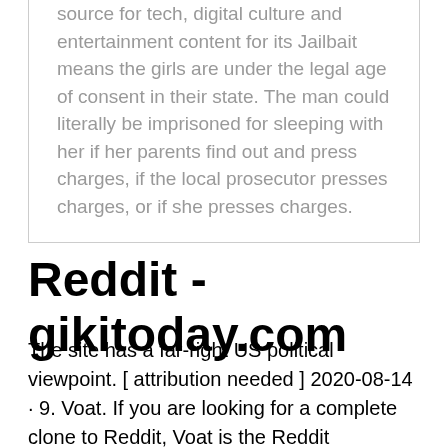source for tech, digital culture and entertainment content for its Jailbait means the girls are under the legal age of consent in their state. The man could literally be imprisoned for sleeping with her if her parents find out and press charges, if the local prosecutor presses charges, or if she presses charges.
Reddit - gikitoday.com
The site has a far-right US political viewpoint. [ attribution needed ] 2020-08-14 · 9. Voat. If you are looking for a complete clone to Reddit, Voat is the Reddit alternative you need.